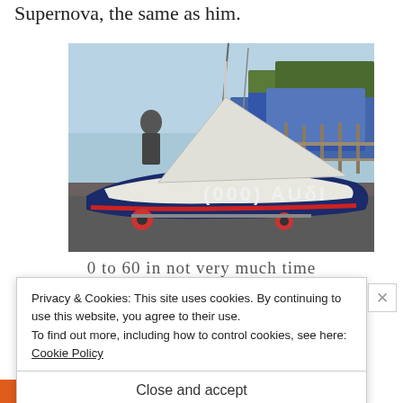Supernova, the same as him.
[Figure (photo): A sailing dinghy with 'AUDI' branding on its hull, on a trailer on gravel, with masts and blue covered boats visible in the background marina. A person stands near the boat.]
0 to 60 in not very much time
Privacy & Cookies: This site uses cookies. By continuing to use this website, you agree to their use.
To find out more, including how to control cookies, see here: Cookie Policy
Close and accept